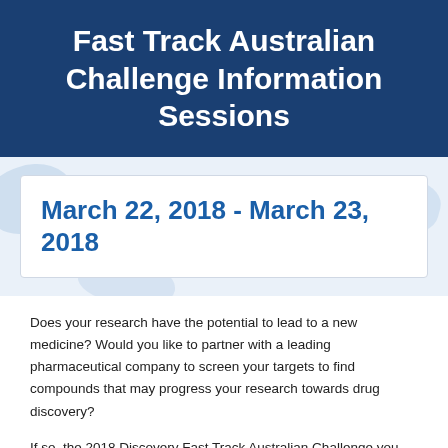Fast Track Australian Challenge Information Sessions
March 22, 2018 - March 23, 2018
Does your research have the potential to lead to a new medicine? Would you like to partner with a leading pharmaceutical company to screen your targets to find compounds that may progress your research towards drug discovery?
If so, the 2018 Discovery Fast Track Australian Challenge you.